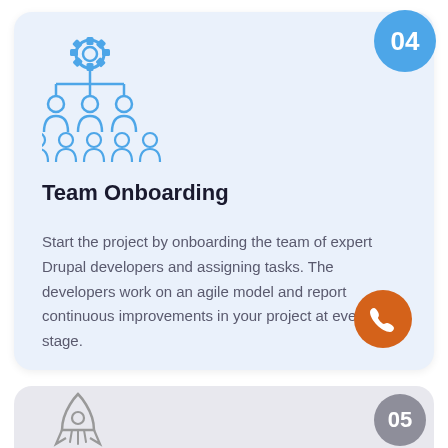[Figure (illustration): Blue outlined icon of a gear above a team/org chart with people silhouettes connected by lines]
Team Onboarding
Start the project by onboarding the team of expert Drupal developers and assigning tasks. The developers work on an agile model and report continuous improvements in your project at every stage.
[Figure (illustration): Orange circular button with white phone/call icon]
[Figure (illustration): Gray outlined rocket icon at the bottom of the page, partial view of a second card with badge number 05]